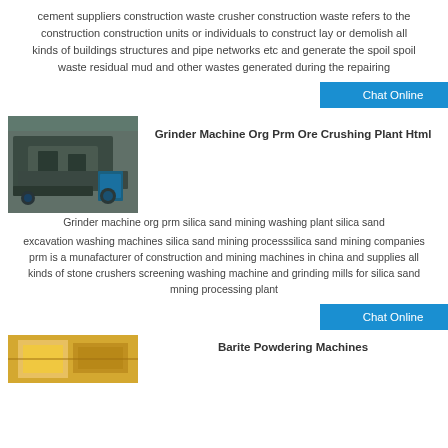cement suppliers construction waste crusher construction waste refers to the construction construction units or individuals to construct lay or demolish all kinds of buildings structures and pipe networks etc and generate the spoil spoil waste residual mud and other wastes generated during the repairing
[Figure (screenshot): Blue 'Chat Online' button]
[Figure (photo): Industrial grinder machine in a factory setting]
Grinder Machine Org Prm Ore Crushing Plant Html
Grinder machine org prm silica sand mining washing plant silica sand excavation washing machines silica sand mining processsilica sand mining companies prm is a munafacturer of construction and mining machines in china and supplies all kinds of stone crushers screening washing machine and grinding mills for silica sand mning processing plant
[Figure (screenshot): Blue 'Chat Online' button]
[Figure (photo): Yellow industrial machinery partial image]
Barite Powdering Machines